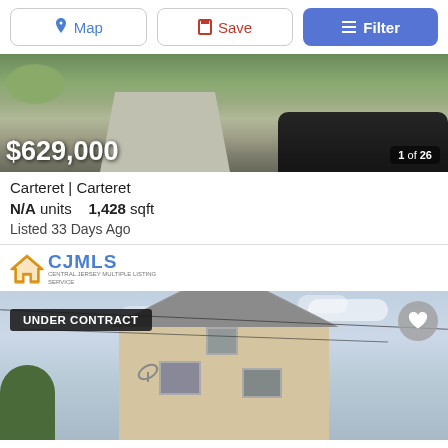Map | Save | Filter
[Figure (photo): Aerial/street view photo of a property with driveway, grass, and a dark car. Price overlay: $629,000. Photo count: 1 of 26.]
Carteret | Carteret
N/A units   1,428 sqft
Listed 33 Days Ago
[Figure (logo): CJMLS Central Jersey Multiple Listing Service logo]
[Figure (photo): Front exterior photo of a multi-story house with white/cream siding, multiple windows, and utility wires. Badge: UNDER CONTRACT. Heart/save button.]